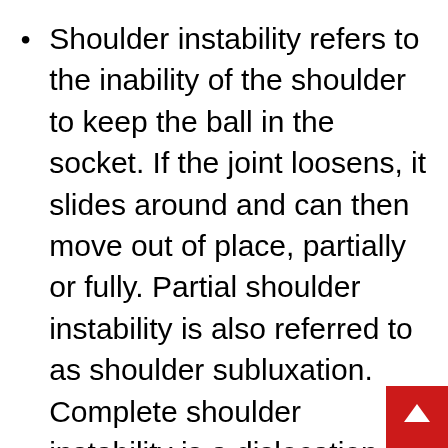Shoulder instability refers to the inability of the shoulder to keep the ball in the socket. If the joint loosens, it slides around and can then move out of place, partially or fully. Partial shoulder instability is also referred to as shoulder subluxation. Complete shoulder instability is a dislocation. There can be anterior or posterior injuries, with an anterior injury being the result of force to an externally rotated arm. Posterior injuries are usually because of a blow to the forward flexe...